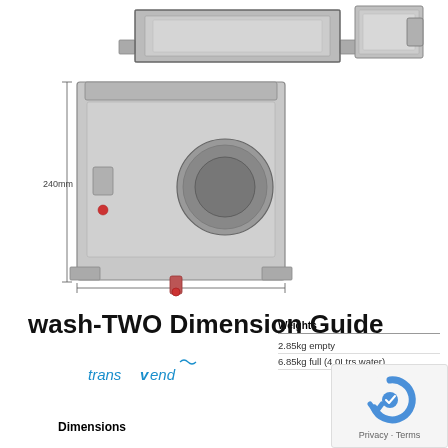[Figure (engineering-diagram): Top view of wash unit housing showing front and side profiles at top of page]
[Figure (engineering-diagram): Front elevation view of wash unit with 240mm height dimension annotation, showing circular port and drain]
| Weights |
| --- |
| 2.85kg empty |
| 6.85kg full (4.0Ltrs water) |
wash-TWO Dimension Guide
[Figure (logo): Transvend company logo in blue italic text]
Dimensions
[Figure (photo): Two small product unit images (wash-TWO variants) at bottom right]
[Figure (other): Google reCAPTCHA privacy badge in bottom right corner]